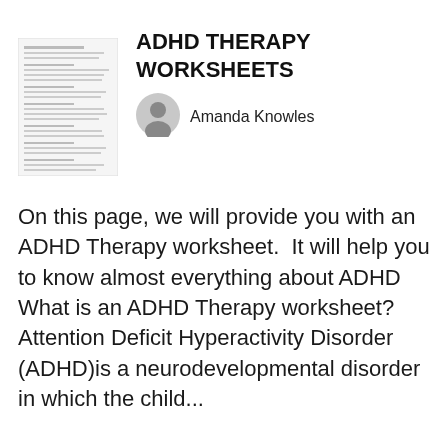[Figure (other): Thumbnail preview of a worksheet document with text lines]
ADHD THERAPY WORKSHEETS
[Figure (other): Generic user avatar icon (grey circle with person silhouette)]
Amanda Knowles
On this page, we will provide you with an ADHD Therapy worksheet.  It will help you to know almost everything about ADHD What is an ADHD Therapy worksheet? Attention Deficit Hyperactivity Disorder (ADHD)is a neurodevelopmental disorder in which the child...